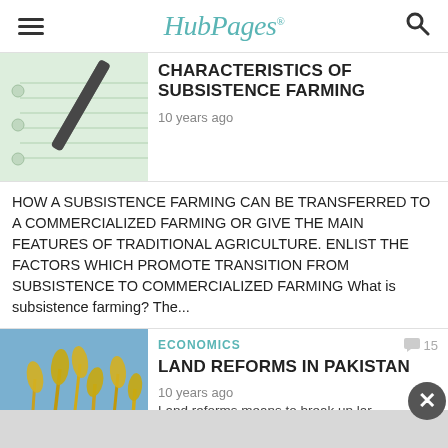HubPages
[Figure (photo): Notebook with pen on lined paper, green tinted]
CHARACTERISTICS OF SUBSISTENCE FARMING
10 years ago
HOW A SUBSISTENCE FARMING CAN BE TRANSFERRED TO A COMMERCIALIZED FARMING OR GIVE THE MAIN FEATURES OF TRADITIONAL AGRICULTURE. ENLIST THE FACTORS WHICH PROMOTE TRANSITION FROM SUBSISTENCE TO COMMERCIALIZED FARMING What is subsistence farming? The...
[Figure (photo): Golden wheat/grain stalks against a blue sky]
ECONOMICS
LAND REFORMS IN PAKISTAN
10 years ago
Land reforms means to break up lar